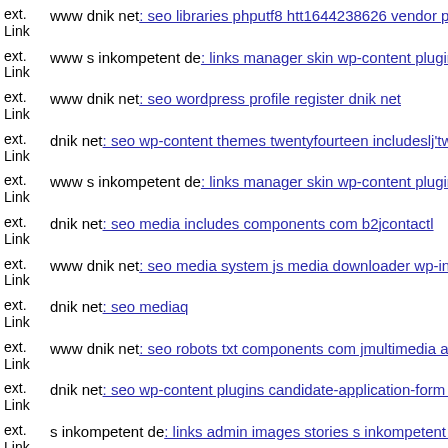ext. Link www dnik net: seo libraries phputf8 htt1644238626 vendor php
ext. Link www s inkompetent de: links manager skin wp-content plugins
ext. Link www dnik net: seo wordpress profile register dnik net
ext. Link dnik net: seo wp-content themes twentyfourteen includeslj'twww
ext. Link www s inkompetent de: links manager skin wp-content plugins
ext. Link dnik net: seo media includes components com b2jcontactl
ext. Link www dnik net: seo media system js media downloader wp-incl
ext. Link dnik net: seo mediaq
ext. Link www dnik net: seo robots txt components com jmultimedia ass
ext. Link dnik net: seo wp-content plugins candidate-application-form w
ext. Link s inkompetent de: links admin images stories s inkompetent de